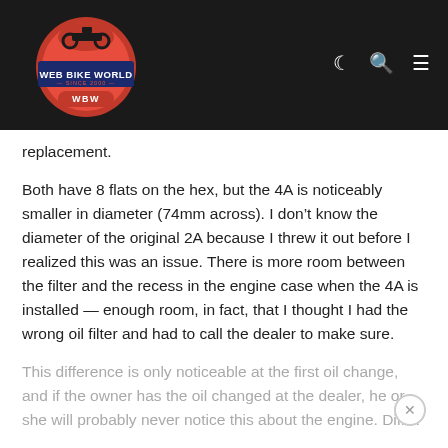[Figure (logo): Web Bike World logo — circular emblem with motorcycle silhouette at top, red and blue circle, text 'WEB BIKE WORLD', 'SINCE 2000', 'WBW' on dark navy/blue banner. Site header with dark background and navigation icons (moon, search, menu).]
replacement.
Both have 8 flats on the hex, but the 4A is noticeably smaller in diameter (74mm across). I don't know the diameter of the original 2A because I threw it out before I realized this was an issue. There is more room between the filter and the recess in the engine case when the 4A is installed — enough room, in fact, that I thought I had the wrong oil filter and had to call the dealer to make sure.
This difference is only noticeable at the first oil change, and if the owner has the oil changed at the dealer, he or she will probably never notice this about the engine. Diff…